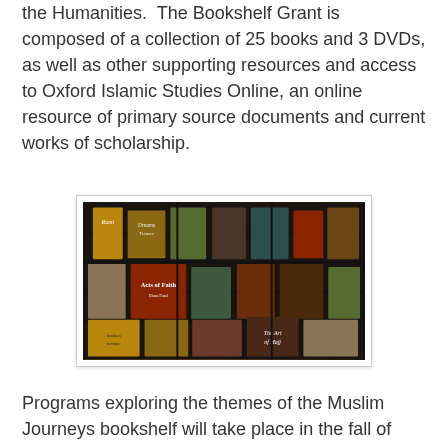the Humanities.  The Bookshelf Grant is composed of a collection of 25 books and 3 DVDs, as well as other supporting resources and access to Oxford Islamic Studies Online, an online resource of primary source documents and current works of scholarship.
[Figure (photo): A photograph of a bookshelf display showing multiple book covers including 'Rumi', 'Dreams', 'Acts of Faith', 'The Art of Hajj' and other books arranged in a wire rack display, with dark background.]
Programs exploring the themes of the Muslim Journeys bookshelf will take place in the fall of 2013.  The Jones Library will partner with ION (Interfaith Opportunities Network), a local interfaith organization, which will help support the programming and extend the audience for the public programs. Both our ION Co-Sponsors noted